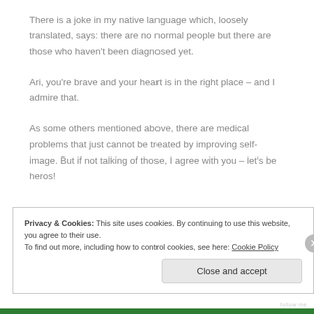There is a joke in my native language which, loosely translated, says: there are no normal people but there are those who haven't been diagnosed yet.
Ari, you're brave and your heart is in the right place – and I admire that.
As some others mentioned above, there are medical problems that just cannot be treated by improving self-image. But if not talking of those, I agree with you – let's be heros!
Privacy & Cookies: This site uses cookies. By continuing to use this website, you agree to their use. To find out more, including how to control cookies, see here: Cookie Policy
Close and accept